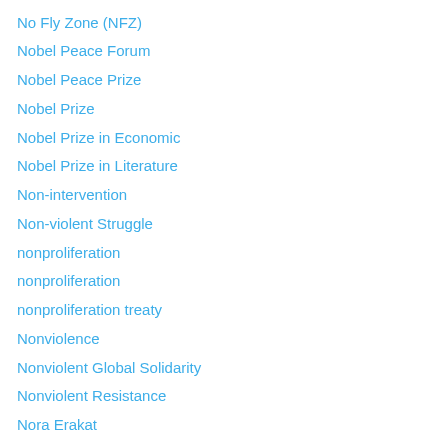No Fly Zone (NFZ)
Nobel Peace Forum
Nobel Peace Prize
Nobel Prize
Nobel Prize in Economic
Nobel Prize in Literature
Non-intervention
Non-violent Struggle
nonproliferation
nonproliferation
nonproliferation treaty
Nonviolence
Nonviolent Global Solidarity
Nonviolent Resistance
Nora Erakat
Normalization Agreements
normative democracy
North Carolina murders
North Korea
north/south divide